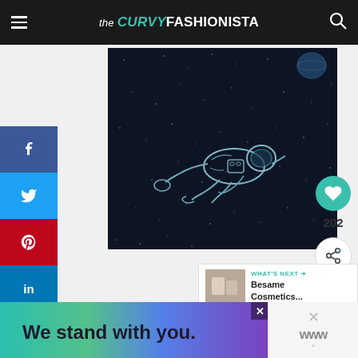the CURVY FASHIONISTA
[Figure (illustration): Dark space background with illustrated astronaut floating in outline/line-art style, stars scattered across dark navy background, small planet visible in upper right]
[Figure (infographic): Social share sidebar: Facebook (f), Twitter bird, Pinterest (p), LinkedIn (in) buttons stacked vertically on left side]
[Figure (infographic): Right sidebar with teal heart/like button showing count 202, and share button below]
WHAT'S NEXT → Besame Cosmetics...
[Figure (infographic): Advertisement banner reading 'We stand with you.' with colorful gradient background (teal to purple), with close X button]